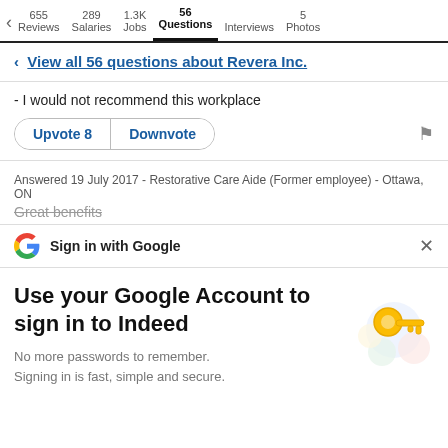655 Reviews  289 Salaries  1.3K Jobs  56 Questions  Interviews  5 Photos
< View all 56 questions about Revera Inc.
- I would not recommend this workplace
Upvote 8  Downvote
Answered 19 July 2017 - Restorative Care Aide (Former employee) - Ottawa, ON
Great benefits
Sign in with Google
Use your Google Account to sign in to Indeed
No more passwords to remember. Signing in is fast, simple and secure.